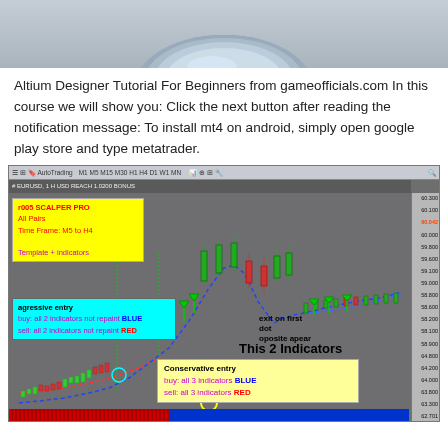[Figure (illustration): Partial view of a metallic object (possibly a coin or device) at top of page]
Altium Designer Tutorial For Beginners from gameofficials.com In this course we will show you: Click the next button after reading the notification message: To install mt4 on android, simply open google play store and type metatrader.
[Figure (screenshot): MetaTrader 4 chart showing candlestick price action with two indicators (not repaint). Contains yellow info box 'r005 SCALPER PRO All Pairs Time Frame: M5 to H4 Template + indicators', cyan box describing aggressive entry signals (buy: all 2 indicators not repaint BLUE, sell: all 2 indicators not repaint RED), text 'exit on first dot oposite apear', yellow box 'Conservative entry buy: all 3 indicators BLUE sell: all 3 indicators RED', and large text 'This 2 Indicators NOT REPAINT' in black and cyan. Chart has blue dotted line curve, red dotted line, green arrow signals, red/green candlesticks, and red/blue bar indicator at bottom.]